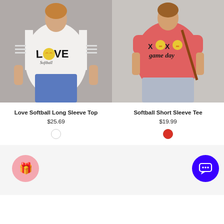[Figure (photo): Woman wearing white cold-shoulder long sleeve top with Love Softball graphic print]
Love Softball Long Sleeve Top
$25.69
[Figure (photo): Woman wearing coral/pink short sleeve tee with XOXO game day softball graphic]
Softball Short Sleeve Tee
$19.99
[Figure (infographic): Pink gift icon button and blue chat button on gray background placeholders for additional products]